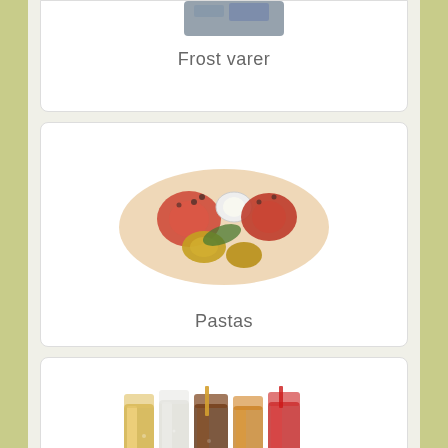[Figure (photo): Partial view of frozen goods product image (cut off at top)]
Frost varer
[Figure (photo): Condiments and sauces on a wooden cutting board with passion fruit and berries]
Pastas
[Figure (photo): Various soft drinks and sodas in glasses with different colors]
Sodavand
[Figure (photo): Partial view of grains and flour products (cut off at bottom)]